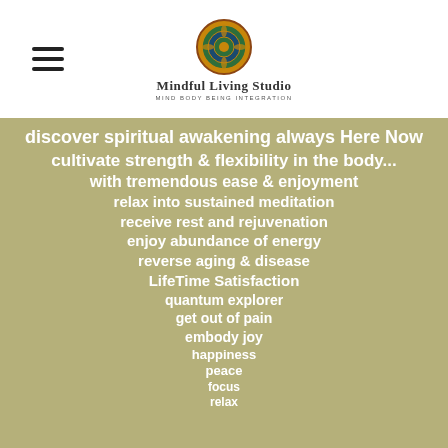[Figure (logo): Mindful Living Studio logo with circular mandala/compass emblem and text 'Mindful Living Studio - Mind Body Being Integration']
discover spiritual awakening always Here Now
cultivate strength & flexibility in the body...
with tremendous ease & enjoyment
relax into sustained meditation
receive rest and rejuvenation
enjoy abundance of energy
reverse aging & disease
LifeTime Satisfaction
quantum explorer
get out of pain
embody joy
happiness
peace
focus
relax